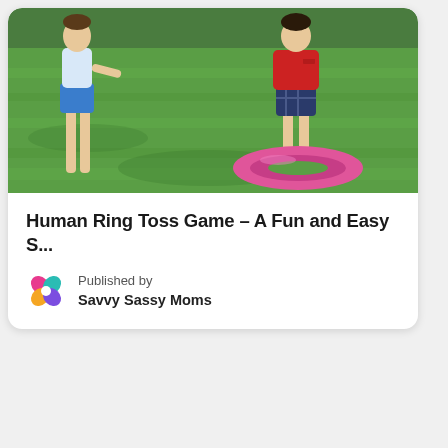[Figure (photo): Children playing on a green grass lawn outside. One child in blue shorts on the left, another child in a red shirt and plaid shorts standing on a pink inflatable ring on the right.]
Human Ring Toss Game – A Fun and Easy S...
Published by Savvy Sassy Moms